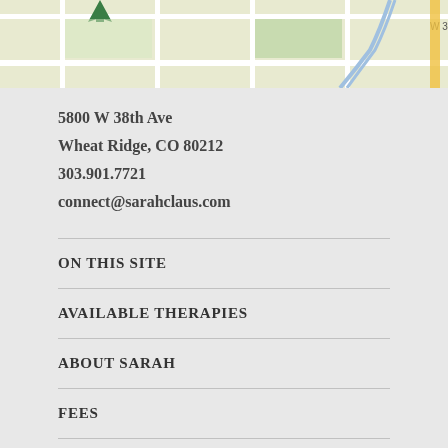[Figure (map): Google Maps partial screenshot showing street map with W 35th Ave label, green map marker, and yellow highlighted route on the right edge.]
5800 W 38th Ave
Wheat Ridge, CO 80212
303.901.7721
connect@sarahclaus.com
ON THIS SITE
AVAILABLE THERAPIES
ABOUT SARAH
FEES
REACH OUT